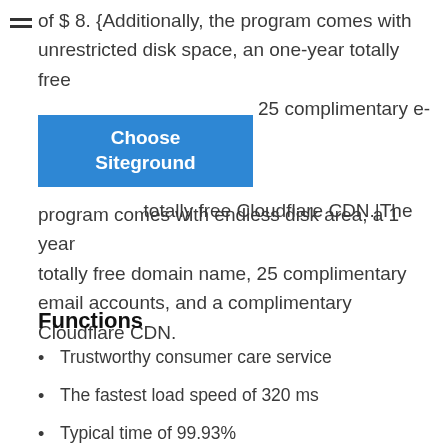of $ 8. {Additionally, the program comes with unrestricted disk space, an one-year totally free 25 complimentary e-mail totally free Cloudflare CDN.|The program comes with endless disk area, a 1 year totally free domain name, 25 complimentary email accounts, and a complimentary Cloudflare CDN.
[Figure (other): Blue button with text 'Choose Siteground']
Functions
Trustworthy consumer care service
The fastest load speed of 320 ms
Typical time of 99.93%